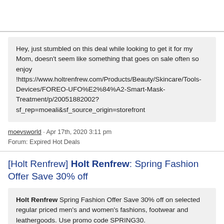Hey, just stumbled on this deal while looking to get it for my Mom, doesn't seem like something that goes on sale often so enjoy
!https://www.holtrenfrew.com/Products/Beauty/Skincare/Tools-Devices/FOREO-UFO%E2%84%A2-Smart-Mask-Treatment/p/20051882002?sf_rep=moeali&sf_source_origin=storefront
moevsworld · Apr 17th, 2020 3:11 pm
Forum: Expired Hot Deals
[Holt Renfrew] Holt Renfrew: Spring Fashion Offer Save 30% off
Holt Renfrew Spring Fashion Offer Save 30% off on selected regular priced men's and women's fashions, footwear and leathergoods. Use promo code SPRING30.
* Offer valid online at holtrenfrew.com from 03/27/2020